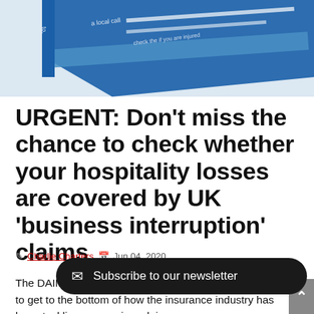[Figure (photo): Partial view of an insurance or workplace document with blue header elements visible at an angle, showing text fragments like 'a local call' and 'check the if you are injured'.]
URGENT: Don't miss the chance to check whether your hospitality losses are covered by UK 'business interruption' claims
Charlie Charters  Jun 04, 2020
The DAIMANI Journal has been unstinting in our attempts to get to the bottom of how the insurance industry has been tackling coronavirus claims. Most famously of course, there was the insurance c... 150m for the cancelli... forced on the All England Lawn Tennis Club.